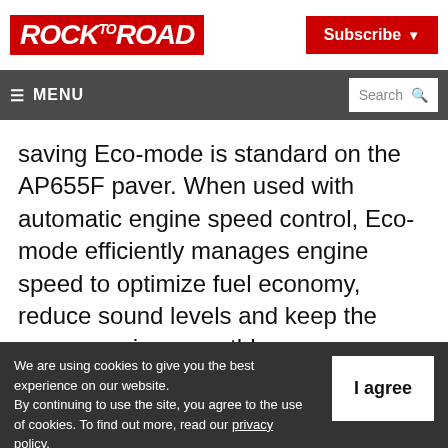ROCK TO ROAD | Subscribe
MENU | Search
saving Eco-mode is standard on the AP655F paver. When used with automatic engine speed control, Eco-mode efficiently manages engine speed to optimize fuel economy, reduce sound levels and keep the paver running smoothly.
We are using cookies to give you the best experience on our website. By continuing to use the site, you agree to the use of cookies. To find out more, read our privacy policy.